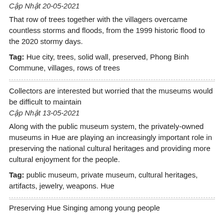Cập Nhật 20-05-2021
That row of trees together with the villagers overcame countless storms and floods, from the 1999 historic flood to the 2020 stormy days.
Tag: Hue city, trees, solid wall, preserved, Phong Binh Commune, villages, rows of trees
Collectors are interested but worried that the museums would be difficult to maintain
Cập Nhật 13-05-2021
Along with the public museum system, the privately-owned museums in Hue are playing an increasingly important role in preserving the national cultural heritages and providing more cultural enjoyment for the people.
Tag: public museum, private museum, cultural heritages, artifacts, jewelry, weapons. Hue
Preserving Hue Singing among young people